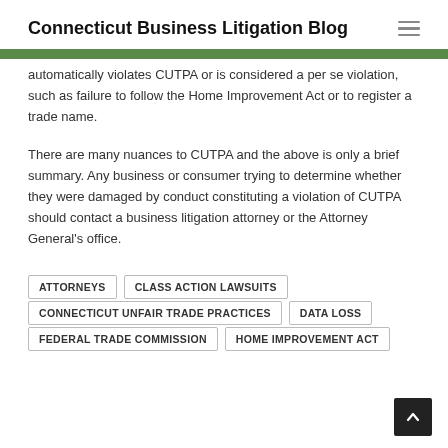Connecticut Business Litigation Blog
automatically violates CUTPA or is considered a per se violation, such as failure to follow the Home Improvement Act or to register a trade name.
There are many nuances to CUTPA and the above is only a brief summary. Any business or consumer trying to determine whether they were damaged by conduct constituting a violation of CUTPA should contact a business litigation attorney or the Attorney General's office.
ATTORNEYS
CLASS ACTION LAWSUITS
CONNECTICUT UNFAIR TRADE PRACTICES
DATA LOSS
FEDERAL TRADE COMMISSION
HOME IMPROVEMENT ACT